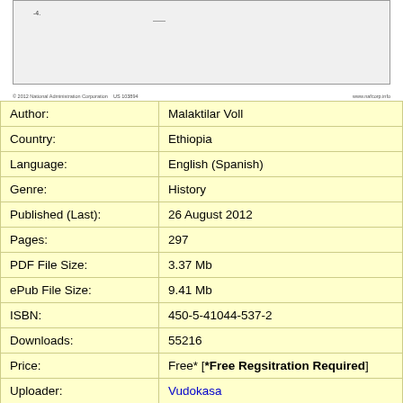[Figure (other): Partial view of a document or chart image with small text labels and a dashed line, cropped at top]
| Field | Value |
| --- | --- |
| Author: | Malaktilar Voll |
| Country: | Ethiopia |
| Language: | English (Spanish) |
| Genre: | History |
| Published (Last): | 26 August 2012 |
| Pages: | 297 |
| PDF File Size: | 3.37 Mb |
| ePub File Size: | 9.41 Mb |
| ISBN: | 450-5-41044-537-2 |
| Downloads: | 55216 |
| Price: | Free* [*Free Regsitration Required] |
| Uploader: | Vudokasa |